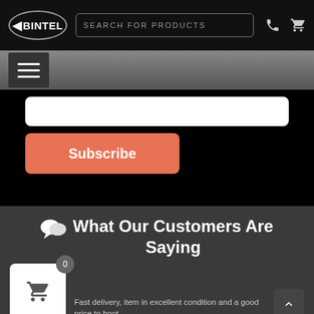[Figure (screenshot): Bintel website header with logo, search bar, phone and cart icons]
[Figure (screenshot): Gray gradient navigation bar with hamburger menu icon]
[Figure (screenshot): Black section with white input box and orange Subscribe button]
What Our Customers Are Saying
[Figure (screenshot): Review widget showing shopping cart card with 0 badge and star rating]
Fast delivery, item in excellent condition and a good price to boot